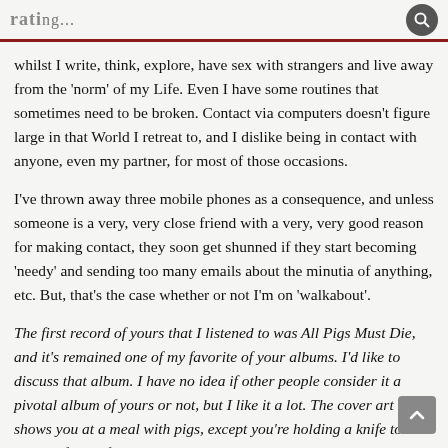whilst I write, think, explore, have sex with strangers and live away from the 'norm' of my Life. Even I have some routines that sometimes need to be broken. Contact via computers doesn't figure large in that World I retreat to, and I dislike being in contact with anyone, even my partner, for most of those occasions.
I've thrown away three mobile phones as a consequence, and unless someone is a very, very close friend with a very, very good reason for making contact, they soon get shunned if they start becoming 'needy' and sending too many emails about the minutia of anything, etc. But, that's the case whether or not I'm on 'walkabout'.
The first record of yours that I listened to was All Pigs Must Die, and it's remained one of my favorite of your albums. I'd like to discuss that album. I have no idea if other people consider it a pivotal album of yours or not, but I like it a lot. The cover art shows you at a meal with pigs, except you're holding a knife to the throat of one of the pigs. The picture between you and the...